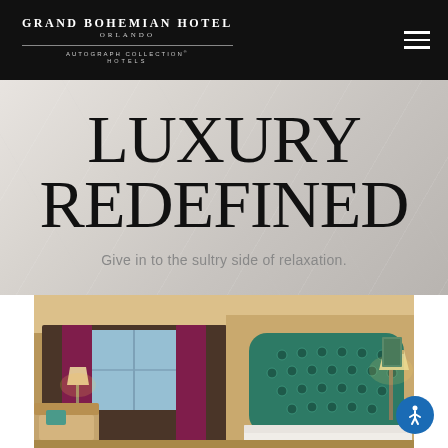Grand Bohemian Hotel Orlando — Autograph Collection Hotels
LUXURY REDEFINED
Give in to the sultry side of relaxation.
[Figure (photo): Hotel room interior with tufted green velvet headboard, beige walls, lamps, and a sitting area with curtained windows in the background]